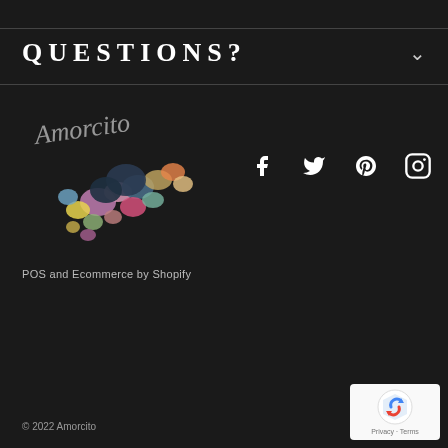QUESTIONS?
[Figure (logo): Amorcito brand logo with cursive script text and floral illustration]
[Figure (infographic): Social media icons: Facebook, Twitter, Pinterest, Instagram]
POS and Ecommerce by Shopify
[Figure (infographic): Payment method badges: Amazon, Amex, Apple Pay, Diners Club, Discover, Meta Pay, Google Pay, Mastercard, PayPal, OPay, Venmo, Visa]
© 2022 Amorcito
[Figure (other): Google reCAPTCHA badge with Privacy and Terms links]